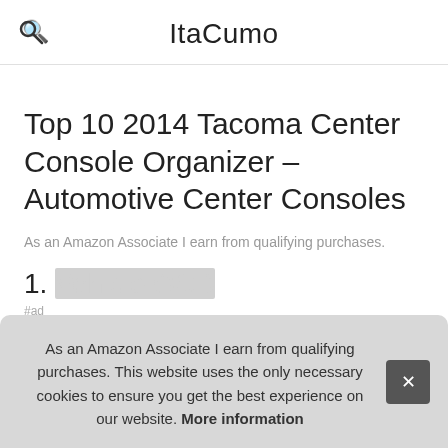ItaCumo
Top 10 2014 Tacoma Center Console Organizer – Automotive Center Consoles
As an Amazon Associate I earn from qualifying purchases.
1. Vehicle OCD
#ad
As an Amazon Associate I earn from qualifying purchases. This website uses the only necessary cookies to ensure you get the best experience on our website. More information